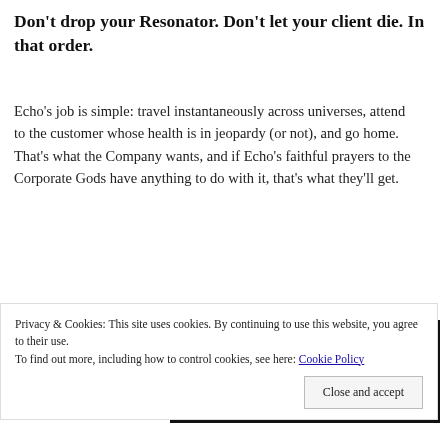Don't drop your Resonator. Don't let your client die. In that order.
Echo's job is simple: travel instantaneously across universes, attend to the customer whose health is in jeopardy (or not), and go home. That's what the Company wants, and if Echo's faithful prayers to the Corporate Gods have anything to do with it, that's what they'll get.
Advertisements
[Figure (other): Advertisement banner with dark background showing a logo with a small white square icon and the text '2', with a 'Get started for free' button at the bottom.]
Privacy & Cookies: This site uses cookies. By continuing to use this website, you agree to their use.
To find out more, including how to control cookies, see here: Cookie Policy